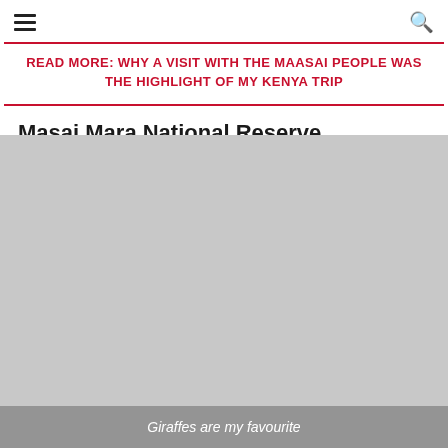≡  🔍
READ MORE: WHY A VISIT WITH THE MAASAI PEOPLE WAS THE HIGHLIGHT OF MY KENYA TRIP
Masai Mara National Reserve
[Figure (photo): Large photo placeholder area in grey, representing a photo of giraffes at Masai Mara National Reserve]
Giraffes are my favourite